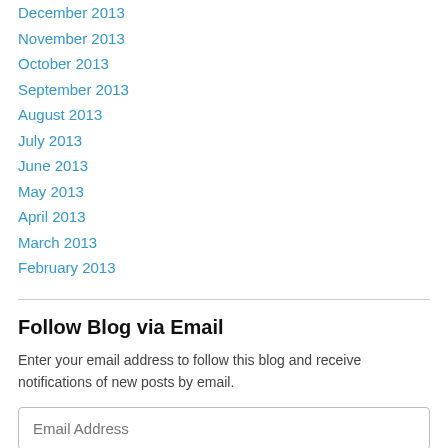December 2013
November 2013
October 2013
September 2013
August 2013
July 2013
June 2013
May 2013
April 2013
March 2013
February 2013
Follow Blog via Email
Enter your email address to follow this blog and receive notifications of new posts by email.
Email Address
Follow